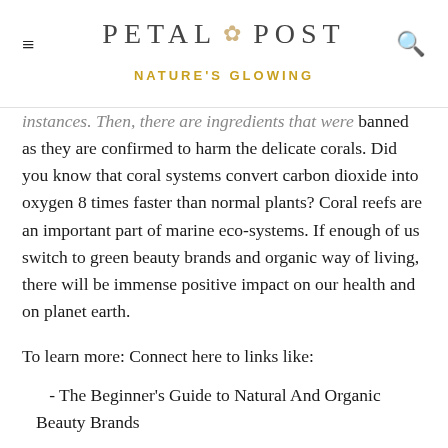PETAL POST — NATURE'S GLOWING
instances. Then, there are ingredients that were banned as they are confirmed to harm the delicate corals. Did you know that coral systems convert carbon dioxide into oxygen 8 times faster than normal plants? Coral reefs are an important part of marine eco-systems. If enough of us switch to green beauty brands and organic way of living, there will be immense positive impact on our health and on planet earth.
To learn more: Connect here to links like:
- The Beginner's Guide to Natural And Organic Beauty Brands